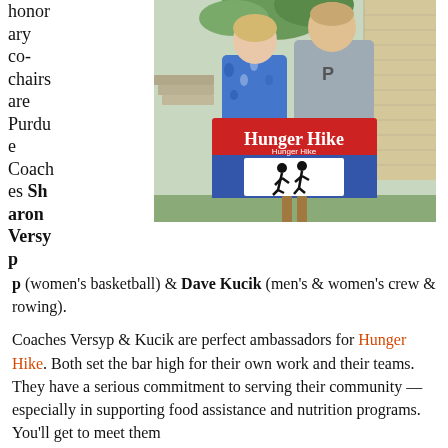honorary co-chairs are Purdue Coaches Sharon Versyp (women's basketball) & Dave Kucik (men's & women's crew & rowing).
[Figure (photo): Two people (a woman in blue floral top and a man in gray Purdue sweatshirt) standing together holding a Hunger Hike sign with red, blue, and white colors showing a runner silhouette.]
Coaches Versyp & Kucik are perfect ambassadors for Hunger Hike. Both set the bar high for their own work and their teams. They have a serious commitment to serving their community — especially in supporting food assistance and nutrition programs. You'll get to meet them